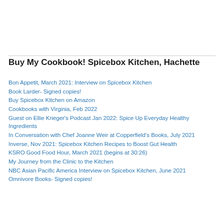Buy My Cookbook! Spicebox Kitchen, Hachette
Bon Appetit, March 2021: Interview on Spicebox Kitchen
Book Larder- Signed copies!
Buy Spicebox Kitchen on Amazon
Cookbooks with Virginia, Feb 2022
Guest on Ellie Krieger's Podcast Jan 2022: Spice Up Everyday Healthy Ingredients
In Conversation with Chef Joanne Weir at Copperfield's Books, July 2021
Inverse, Nov 2021: Spicebox Kitchen Recipes to Boost Gut Health
KSRO Good Food Hour, March 2021 (begins at 30:26)
My Journey from the Clinic to the Kitchen
NBC Asian Pacific America Interview on Spicebox Kitchen, June 2021
Omnivore Books- Signed copies!